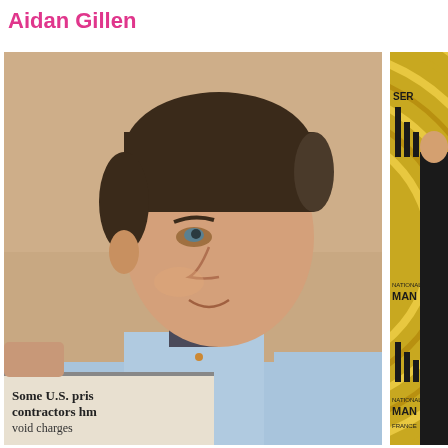Aidan Gillen
[Figure (photo): Aidan Gillen in a light blue dress shirt reading a newspaper, with a beige/neutral background. The newspaper visible at bottom shows text 'Some U.S. pris contractors hm void charges'.]
[Figure (photo): Aidan Gillen in a black suit at what appears to be a festival backdrop with gold/yellow concentric circle design and text partially visible reading 'NATIONAL MANIA FRANCE' and 'SER' at top — appears to be a French television festival backdrop (Serie Mania).]